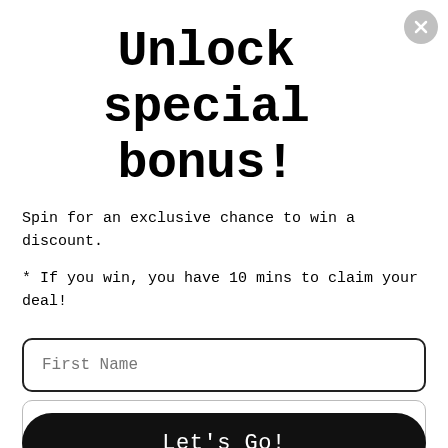Unlock special bonus!
Spin for an exclusive chance to win a discount.
* If you win, you have 10 mins to claim your deal!
First Name
Email
Let's Go!